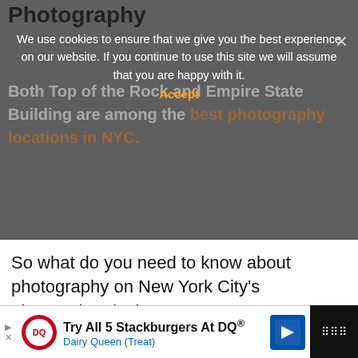Photography
We use cookies to ensure that we give you the best experience on our website. If you continue to use this site we will assume that you are happy with it.
Accept
Both Top of the Rock and Empire State Building are among the best photography locations in NYC.
So what do you need to know about photography on New York City's observation decks?
Well, the first and most important piece of information for professional and serious hobbyist photographers is that you can not set up a tripod at any point on any floor. That means a US$ 1,000 carbon fiber all terrain tripod or a 2 inch iPhone tripod.
Try All 5 Stackburgers At DQ® Dairy Queen (Treat)
WHAT'S NEXT → How To Visit Edge NYC:...